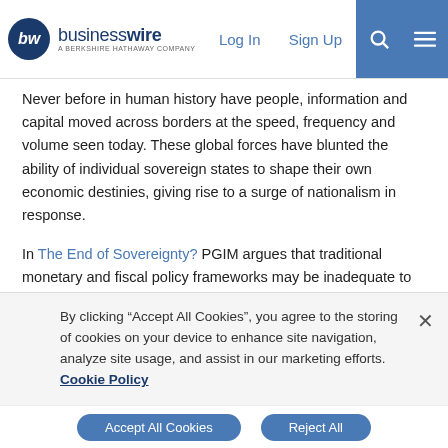businesswire — A BERKSHIRE HATHAWAY COMPANY | Log In | Sign Up
Never before in human history have people, information and capital moved across borders at the speed, frequency and volume seen today. These global forces have blunted the ability of individual sovereign states to shape their own economic destinies, giving rise to a surge of nationalism in response.
In The End of Sovereignty? PGIM argues that traditional monetary and fiscal policy frameworks may be inadequate to understand the shifting global landscape.
“Successful long-term investors who navigate this environment will place developed market geopolitical risk high on their agenda when making investment decisions,” said Taimur Hyat, chief strategy
By clicking “Accept All Cookies”, you agree to the storing of cookies on your device to enhance site navigation, analyze site usage, and assist in our marketing efforts.   Cookie Policy